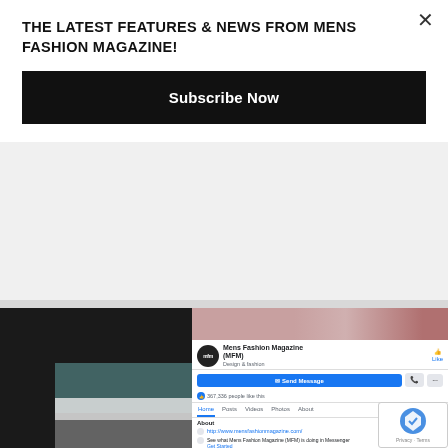THE LATEST FEATURES & NEWS FROM MENS FASHION MAGAZINE!
Subscribe Now
[Figure (screenshot): Screenshot of a phone displaying the Mens Fashion Magazine (MFM) Facebook page, showing profile info, Send Message button, 367,336 people like this, navigation tabs (Home, Posts, Videos, Photos, About), About section with website http://www.mensfashionmagazine.com/ and Get Started link, overlaid with a reCAPTCHA Privacy Terms badge.]